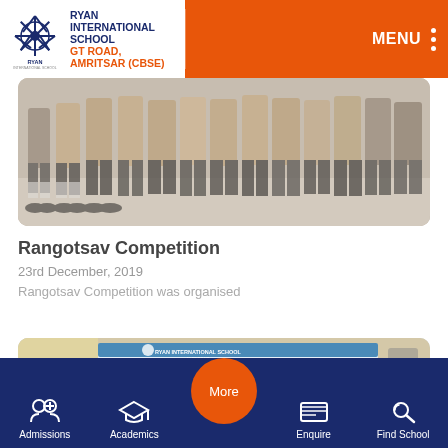RYAN INTERNATIONAL SCHOOL GT ROAD, AMRITSAR (CBSE) — MENU
[Figure (photo): Students in school uniforms standing in a row, showing legs and skirts/trousers and black shoes and socks]
Rangotsav Competition
23rd December, 2019
Rangotsav Competition was organised
[Figure (photo): Ryan International School Amritsar banner/sign with RYAN MODEL ECO NATION text visible]
Admissions  Academics  More  Enquire  Find School